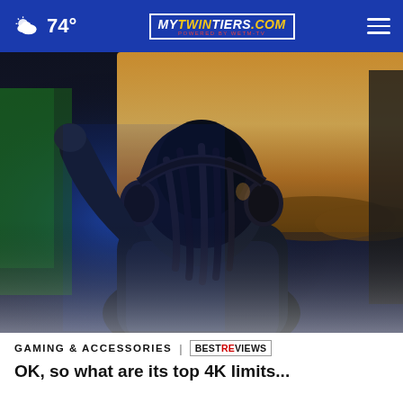74° | MYTWINTIERS.COM | [hamburger menu]
[Figure (photo): Person wearing gaming headphones seen from behind, facing a large monitor displaying a video game with a golden sky backdrop. The room has a green-lit gaming setup on the left.]
GAMING & ACCESSORIES | BESTREVIEWS
OK, so what are its top 4K limits...